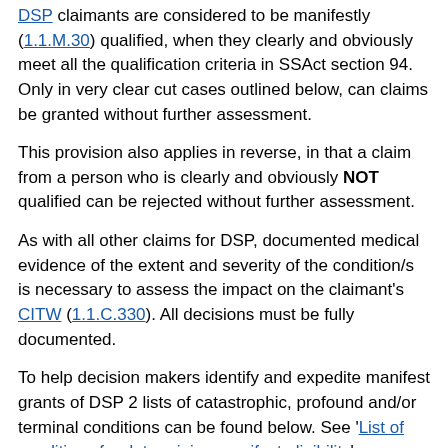DSP claimants are considered to be manifestly (1.1.M.30) qualified, when they clearly and obviously meet all the qualification criteria in SSAct section 94. Only in very clear cut cases outlined below, can claims be granted without further assessment.
This provision also applies in reverse, in that a claim from a person who is clearly and obviously NOT qualified can be rejected without further assessment.
As with all other claims for DSP, documented medical evidence of the extent and severity of the condition/s is necessary to assess the impact on the claimant's CITW (1.1.C.330). All decisions must be fully documented.
To help decision makers identify and expedite manifest grants of DSP 2 lists of catastrophic, profound and/or terminal conditions can be found below. See 'List of conditions for determining manifest eligibility'.